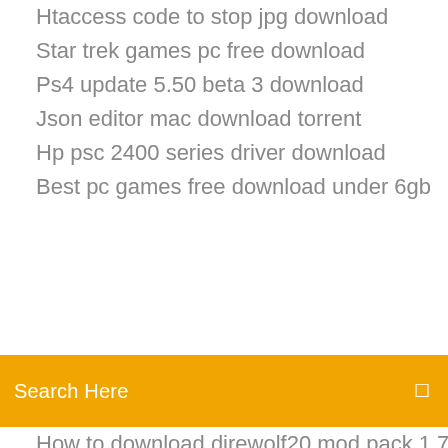Htaccess code to stop jpg download
Star trek games pc free download
Ps4 update 5.50 beta 3 download
Json editor mac download torrent
Hp psc 2400 series driver download
Best pc games free download under 6gb
Search Here
How to download direwolf20 mod pack 1.7.10
Cannot download from amazon app store
Chase app not downloading
The storm runner pdf download
How to download old apps onto ipad
How to download tutu app ios
Wd ses usb driver xp download
Android screen removal download
Download pdf infinity war
Download get your shit together audio pdf
Minecraft super duper graphics download